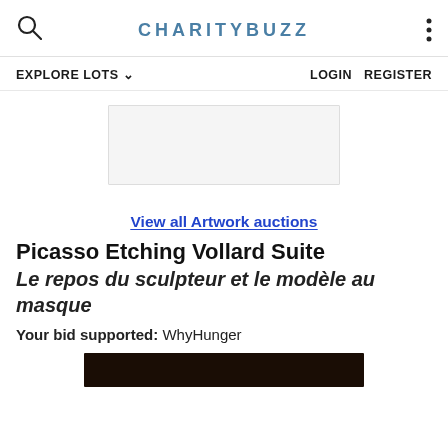CHARITYBUZZ
EXPLORE LOTS   LOGIN   REGISTER
[Figure (other): White rectangular placeholder image area]
View all Artwork auctions
Picasso Etching Vollard Suite
Le repos du sculpteur et le modèle au masque
Your bid supported: WhyHunger
[Figure (photo): Bottom portion of a dark framed artwork photo]